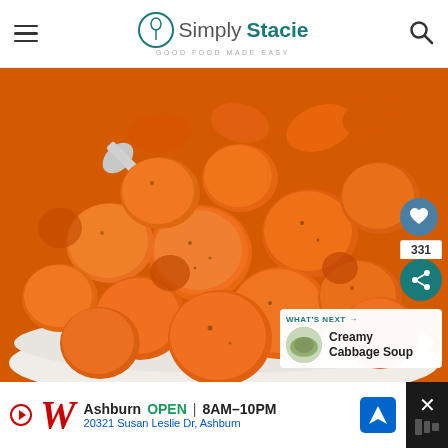Simply Stacie — GOOD FOOD MADE EASY
[Figure (photo): A white bowl filled with cooked, glazed carrot slices with a silver spoon visible at the top. The carrots appear seasoned with pepper. Heart and share buttons (331 shares) are overlaid on the right side. A 'What's Next' overlay shows Creamy Cabbage Soup.]
[Figure (infographic): Advertisement banner for Walgreens. Shows the Walgreens 'W' logo, text 'Ashburn OPEN 8AM-10PM', '20321 Susan Leslie Dr, Ashburn', a navigation icon, and a close button on the dark right side.]